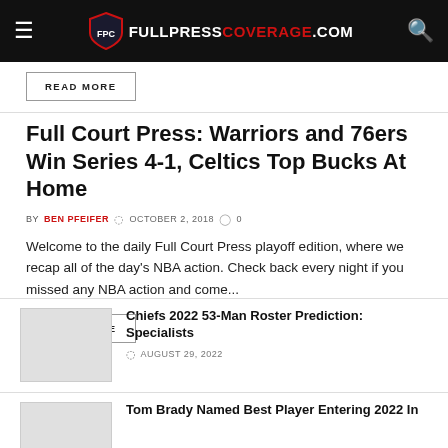FULLPRESSCOVERAGE.COM
READ MORE
Full Court Press: Warriors and 76ers Win Series 4-1, Celtics Top Bucks At Home
BY BEN PFEIFER  OCTOBER 2, 2018  0
Welcome to the daily Full Court Press playoff edition, where we recap all of the day's NBA action. Check back every night if you missed any NBA action and come...
READ MORE
Chiefs 2022 53-Man Roster Prediction: Specialists
AUGUST 29, 2022
Tom Brady Named Best Player Entering 2022 In